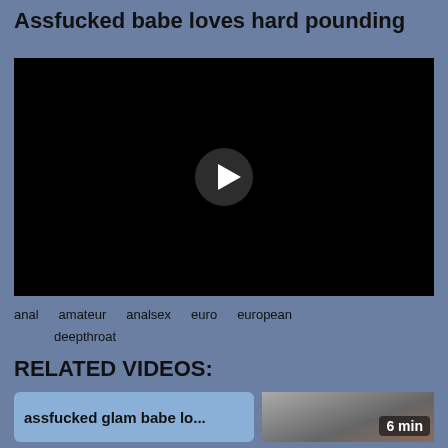Assfucked babe loves hard pounding
[Figure (screenshot): Black video player with circular play button in center]
anal   amateur   analsex   euro   european
deepthroat
RELATED VIDEOS:
assfucked glam babe lo...
[Figure (photo): Thumbnail of a video, 6 min duration badge]